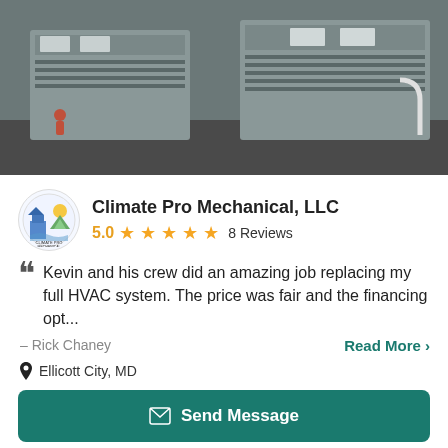[Figure (photo): Rooftop HVAC equipment units, grey metal, viewed from above on a dark rooftop surface]
Climate Pro Mechanical, LLC
5.0 ★★★★★ 8 Reviews
Kevin and his crew did an amazing job replacing my full HVAC system. The price was fair and the financing opt...
– Rick Chaney
Read More >
Ellicott City, MD
Send Message
[Figure (photo): Partial view of HVAC equipment or mechanical device, bottom of page]